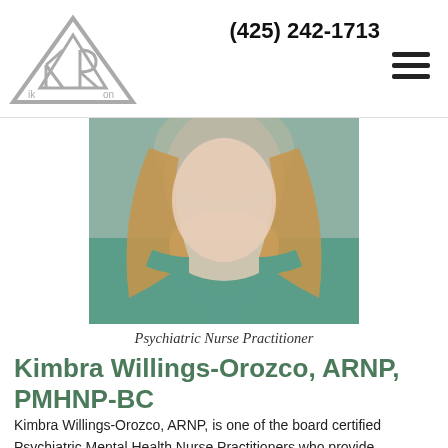(425) 242-1713
[Figure (logo): IKRON triangle logo in grey outline style]
[Figure (photo): Headshot photo of Kimbra Willings-Orozco, a woman with reddish-blonde hair wearing a teal top]
Psychiatric Nurse Practitioner
Kimbra Willings-Orozco, ARNP, PMHNP-BC
Kimbra Willings-Orozco, ARNP, is one of the board certified Psychiatric Mental Health Nurse Practitioners who provide